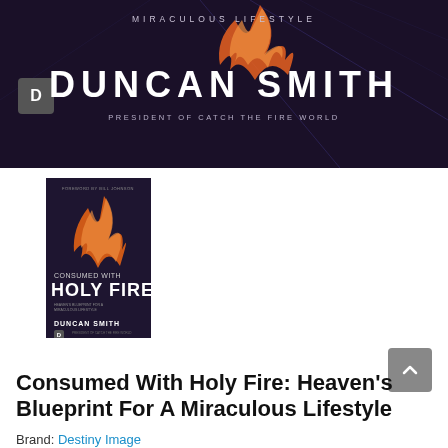[Figure (illustration): Dark purple/navy banner with 'MIRACULOUS LIFESTYLE' text at top, large 'DUNCAN SMITH' name in white bold letters, 'PRESIDENT OF CATCH THE FIRE WORLD' subtitle, orange flame graphic, and a small logo badge on the left]
[Figure (illustration): Book cover for 'Consumed With Holy Fire: Heaven's Blueprint For A Miraculous Lifestyle' by Duncan Smith, dark background with orange flame design, foreword by Bill Johnson]
Consumed With Holy Fire: Heaven's Blueprint For A Miraculous Lifestyle
Brand: Destiny Image